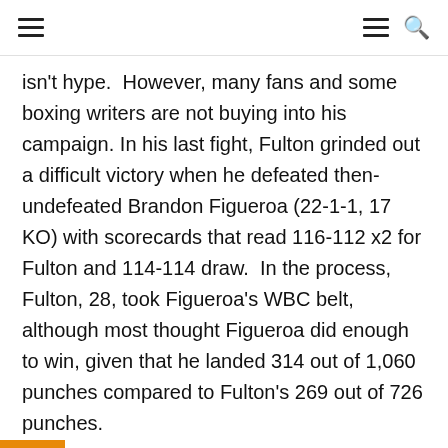≡  ≡ 🔍
isn't hype.  However, many fans and some boxing writers are not buying into his campaign. In his last fight, Fulton grinded out a difficult victory when he defeated then-undefeated Brandon Figueroa (22-1-1, 17 KO) with scorecards that read 116-112 x2 for Fulton and 114-114 draw.  In the process, Fulton, 28, took Figueroa's WBC belt, although most thought Figueroa did enough to win, given that he landed 314 out of 1,060 punches compared to Fulton's 269 out of 726 punches.
Well, that was then, what matters now is tomorrow night when Fulton takes on Danny Roman (29-3-1-10 Kos) at the Amory in Minneapolis, Mn live on